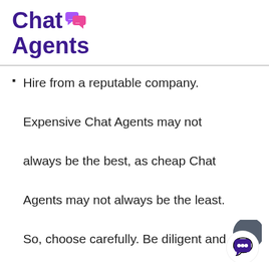Chat Agents
Hire from a reputable company.

Expensive Chat Agents may not always be the best, as cheap Chat Agents may not always be the least. So, choose carefully. Be diligent and you will succeed.
Sign up for the free trials, and decide what Live Agents' services